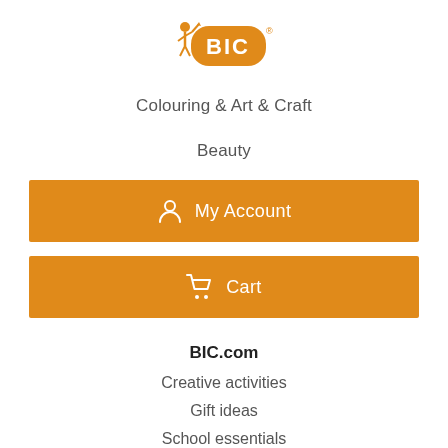[Figure (logo): BIC brand logo with orange rounded rectangle background and cartoon figure holding pen]
Colouring & Art & Craft
Beauty
My Account
Cart
BIC.com
Creative activities
Gift ideas
School essentials
All our products